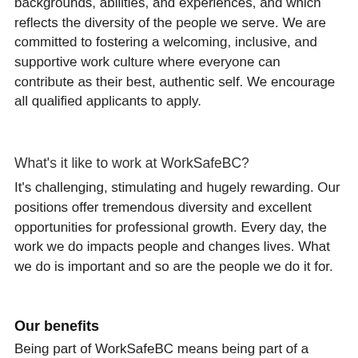backgrounds, abilities, and experiences, and which reflects the diversity of the people we serve. We are committed to fostering a welcoming, inclusive, and supportive work culture where everyone can contribute as their best, authentic self. We encourage all qualified applicants to apply.
What's it like to work at WorkSafeBC?
It's challenging, stimulating and hugely rewarding. Our positions offer tremendous diversity and excellent opportunities for professional growth. Every day, the work we do impacts people and changes lives. What we do is important and so are the people we do it for.
Our benefits
Being part of WorkSafeBC means being part of a strong, committed team. Along with a competitive salary, your total compensation package includes vacation, optional leave arrangements, health care and dental benefits, and contributions